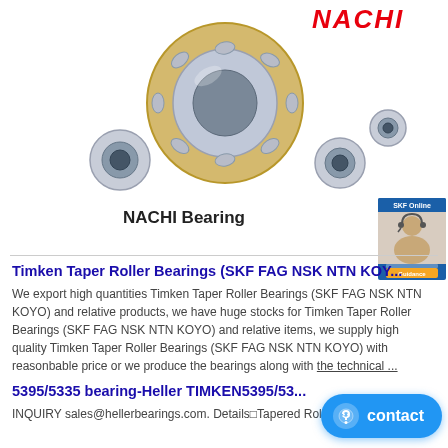[Figure (logo): NACHI logo in red italic bold text at top of page]
[Figure (photo): Multiple NACHI bearings including cylindrical roller bearing and ball bearings on white background]
[Figure (photo): SKF Online service badge with customer service representative image and orange button]
NACHI Bearing
Timken Taper Roller Bearings (SKF FAG NSK NTN KOY...
We export high quantities Timken Taper Roller Bearings (SKF FAG NSK NTN KOYO) and relative products, we have huge stocks for Timken Taper Roller Bearings (SKF FAG NSK NTN KOYO) and relative items, we supply high quality Timken Taper Roller Bearings (SKF FAG NSK NTN KOYO) with reasonbable price or we produce the bearings along with the technical ...
5395/5335 bearing-Heller TIMKEN5395/53...
INQUIRY sales@hellerbearings.com. Details□Tapered Roller Bearings